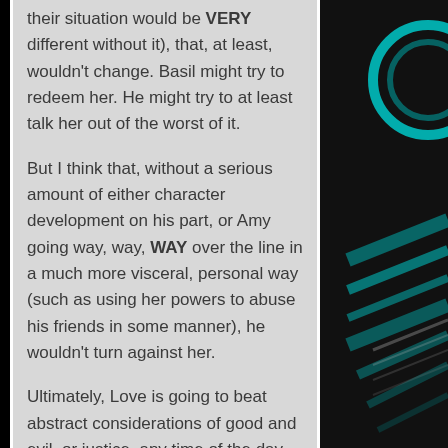their situation would be VERY different without it), that, at least, wouldn't change. Basil might try to redeem her. He might try to at least talk her out of the worst of it.
But I think that, without a serious amount of either character development on his part, or Amy going way, way, WAY over the line in a much more visceral, personal way (such as using her powers to abuse his friends in some manner), he wouldn't turn against her.
Ultimately, Love is going to beat abstract considerations of good and evil, or justice, any time of the day and with one arm tied behind its back.